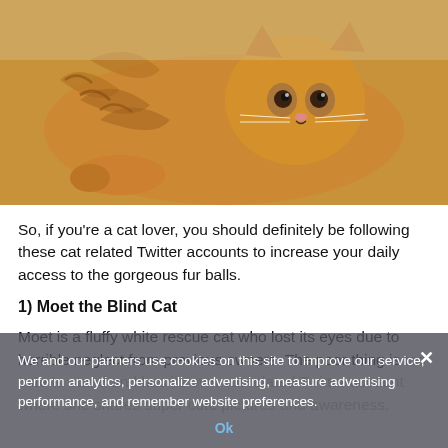[Figure (photo): Orange tabby cat lying on its side, looking at camera with big eyes, brown/tan background]
So, if you're a cat lover, you should definitely be following these cat related Twitter accounts to increase your daily access to the gorgeous fur balls.
1) Moet the Blind Cat
Moet is a fluffy white rescue cat who lost its eyes due to horrible neglect from previous owners. The poor thing is too cute to stand and has its own cat related Twitter account where she shares super cute pictures and awareness.
We and our partners use cookies on this site to improve our service, perform analytics, personalize advertising, measure advertising performance, and remember website preferences.